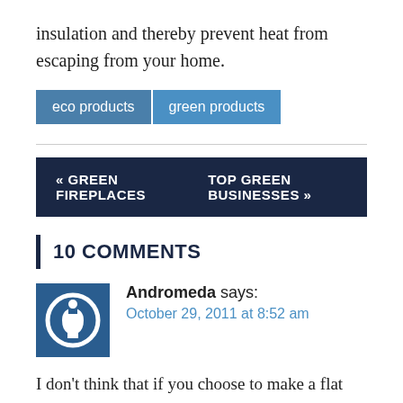insulation and thereby prevent heat from escaping from your home.
eco products
green products
« GREEN FIREPLACES
TOP GREEN BUSINESSES »
10 COMMENTS
Andromeda says:
October 29, 2011 at 8:52 am
I don't think that if you choose to make a flat roof for your house you will go green. Saving a little amount of materials is equal to almost zero. You will pay more after